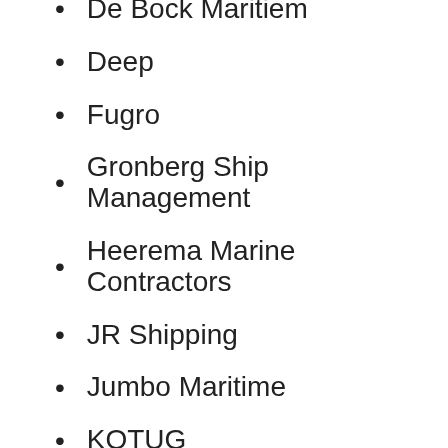De Bock Maritiem
Deep
Fugro
Gronberg Ship Management
Heerema Marine Contractors
JR Shipping
Jumbo Maritime
KOTUG
Livestock Express
MF Shipmanagement